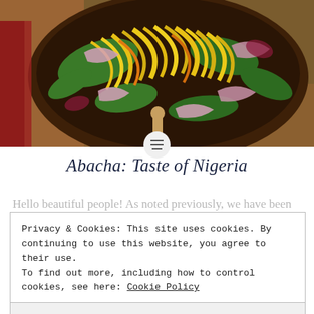[Figure (photo): Close-up photo of Abacha Nigerian salad dish in a dark wooden bowl, showing shredded yellow mango/cassava, green kale leaves, and sliced red onions]
Abacha: Taste of Nigeria
Hello beautiful people! As noted previously, we have been
Privacy & Cookies: This site uses cookies. By continuing to use this website, you agree to their use. To find out more, including how to control cookies, see here: Cookie Policy
Close and accept
spent a lot of our years in the country, we crave